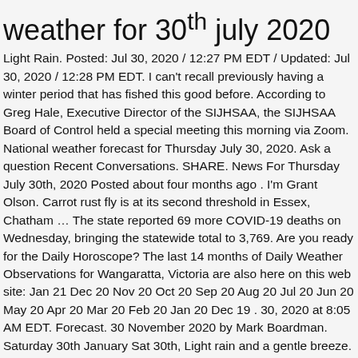weather for 30th july 2020
Light Rain. Posted: Jul 30, 2020 / 12:27 PM EDT / Updated: Jul 30, 2020 / 12:28 PM EDT. I can't recall previously having a winter period that has fished this good before. According to Greg Hale, Executive Director of the SIJHSAA, the SIJHSAA Board of Control held a special meeting this morning via Zoom. National weather forecast for Thursday July 30, 2020. Ask a question Recent Conversations. SHARE. News For Thursday July 30th, 2020 Posted about four months ago . I'm Grant Olson. Carrot rust fly is at its second threshold in Essex, Chatham … The state reported 69 more COVID-19 deaths on Wednesday, bringing the statewide total to 3,769. Are you ready for the Daily Horoscope? The last 14 months of Daily Weather Observations for Wangaratta, Victoria are also here on this web site: Jan 21 Dec 20 Nov 20 Oct 20 Sep 20 Aug 20 Jul 20 Jun 20 May 20 Apr 20 Mar 20 Feb 20 Jan 20 Dec 19 . 30, 2020 at 8:05 AM EDT. Forecast. 30 November 2020 by Mark Boardman. Saturday 30th January Sat 30th, Light rain and a gentle breeze. The rest of the evening will see further rain which will move across the … BALI SURF & WEATHER REPORT 30th June – 1st July. BALI SURF & WEATHER REPORT, The New Normal 30th June – 1st July 2020. July 30, 2020 July 30, 2020 westernislesweather. Welcome to the StormHour